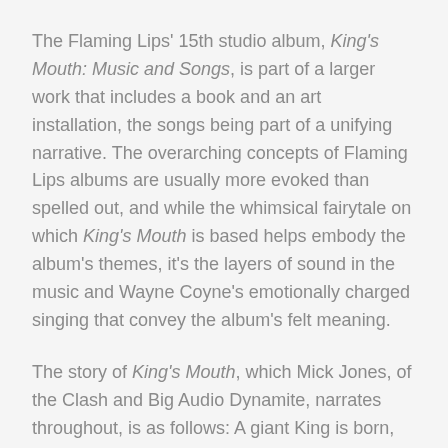The Flaming Lips' 15th studio album, King's Mouth: Music and Songs, is part of a larger work that includes a book and an art installation, the songs being part of a unifying narrative. The overarching concepts of Flaming Lips albums are usually more evoked than spelled out, and while the whimsical fairytale on which King's Mouth is based helps embody the album's themes, it's the layers of sound in the music and Wayne Coyne's emotionally charged singing that convey the album's felt meaning.
The story of King's Mouth, which Mick Jones, of the Clash and Big Audio Dynamite, narrates throughout, is as follows: A giant King is born, and his mother dies in childbirth. The King is endlessly curious about the universe, and one night, "outer space and all the associated regions . . . all descended into and became part of his giant head and mind." Later, while saving the city from destruction by an avalanche, he dies, and the